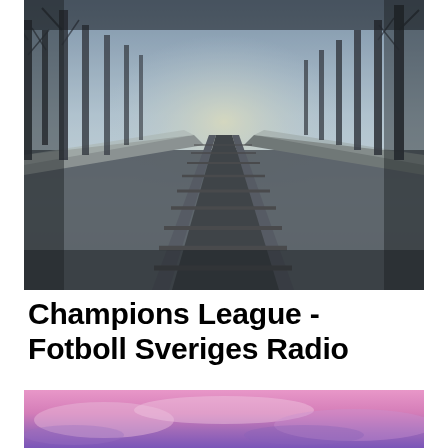[Figure (photo): A misty winter forest scene with railway tracks curving into the foggy distance, bare trees on both sides, snow on the ground, dark bluish-teal color tone.]
Champions League - Fotboll Sveriges Radio
[Figure (photo): A pink and purple sunset sky with soft clouds, partially visible at the bottom of the page.]